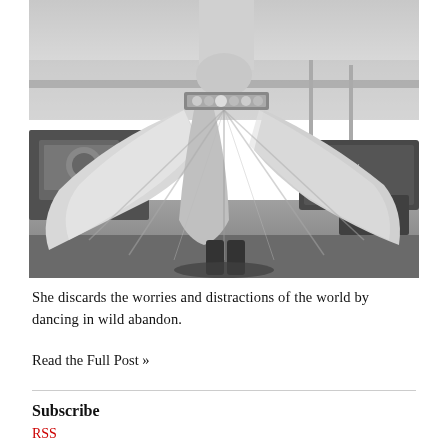[Figure (photo): Black and white photograph of a belly dancer outdoors, spinning with a wide flowing skirt spread out dramatically. The dancer's torso and ornate belt with coins are visible. Beach chairs and equipment are visible in the background near a railing, with a beach scene behind.]
She discards the worries and distractions of the world by dancing in wild abandon.
Read the Full Post »
Subscribe
RSS